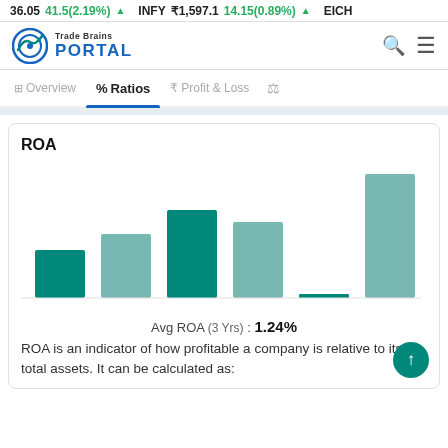36.05  41.5(2.19%) ▲  INFY ₹1,597.1  14.15(0.89%) ▲  EICH
[Figure (logo): Trade Brains Portal logo with circular icon and blue PORTAL text]
Overview  %  Ratios  ₹  Profit & Loss  ⚖
ROA
[Figure (bar-chart): ROA]
Avg ROA (3 Yrs) : 1.24%
ROA is an indicator of how profitable a company is relative to its total assets. It can be calculated as: